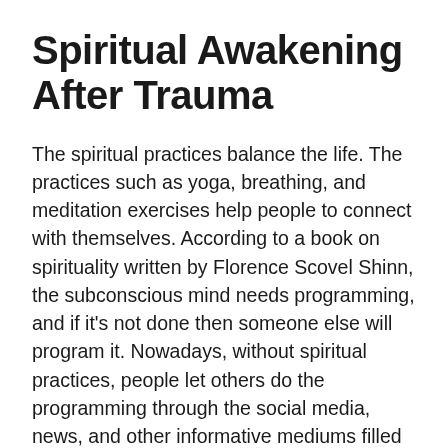Spiritual Awakening After Trauma
The spiritual practices balance the life. The practices such as yoga, breathing, and meditation exercises help people to connect with themselves. According to a book on spirituality written by Florence Scovel Shinn, the subconscious mind needs programming, and if it's not done then someone else will program it. Nowadays, without spiritual practices, people let others do the programming through the social media, news, and other informative mediums filled with a mixed type of expressions, which disturbs the focused thought process of an individual. The morning practices make the